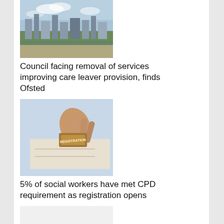[Figure (photo): Aerial or elevated view of a city skyline with buildings and greenery under cloudy sky]
Council facing removal of services improving care leaver provision, finds Ofsted
[Figure (photo): Hand pressing a rubber stamp reading REGISTRATION onto a document]
5% of social workers have met CPD requirement as registration opens
[Figure (photo): Puzzle pieces including a green piece with text reading BRIDGE THE GAP, with other white pieces showing partial text APPLY and labels]
Social work numbers up in Scotland but concerns over widening mental health